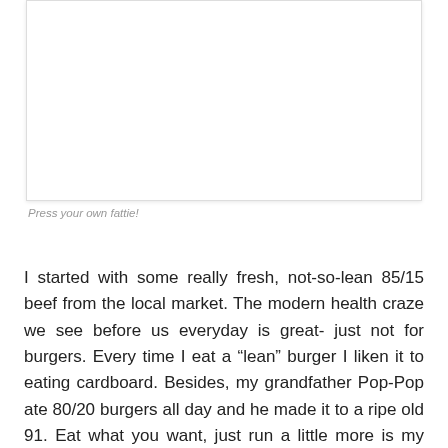[Figure (other): Empty white rectangular image box with light border and shadow]
Press your own fattie!
I started with some really fresh, not-so-lean 85/15 beef from the local market. The modern health craze we see before us everyday is great- just not for burgers. Every time I eat a “lean” burger I liken it to eating cardboard. Besides, my grandfather Pop-Pop ate 80/20 burgers all day and he made it to a ripe old 91. Eat what you want, just run a little more is my theory.